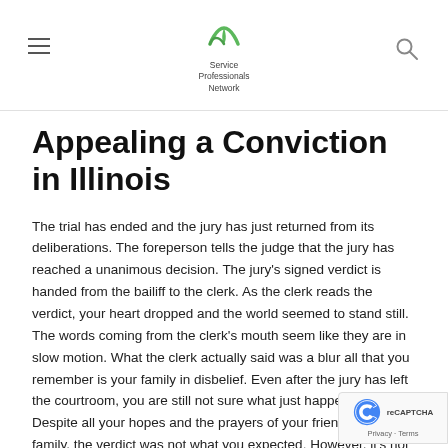Service Professionals Network
Appealing a Conviction in Illinois
The trial has ended and the jury has just returned from its deliberations. The foreperson tells the judge that the jury has reached a unanimous decision. The jury's signed verdict is handed from the bailiff to the clerk. As the clerk reads the verdict, your heart dropped and the world seemed to stand still. The words coming from the clerk's mouth seem like they are in slow motion. What the clerk actually said was a blur all that you remember is your family in disbelief. Even after the jury has left the courtroom, you are still not sure what just happened. Despite all your hopes and the prayers of your friends and family, the verdict was not what you expected. However, it's not over, far from it. Even though a jury found you guilty, your fight has not ended and your real fight has just begun. Even after a criminal conviction you still have options to get the justice that you deserve. But question is, what kind of justice are you looking for?